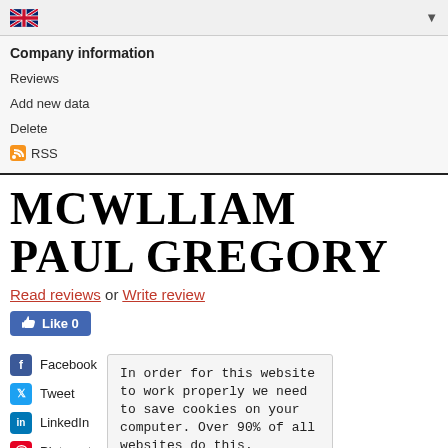UK flag dropdown
Company information
Reviews
Add new data
Delete
RSS
MCWLLIAM  PAUL GREGORY
Read reviews or Write review
Like 0
Facebook
Tweet
LinkedIn
Pinterest
Email
In order for this website to work properly we need to save cookies on your computer. Over 90% of all websites do this.
That's fine!
About cookies